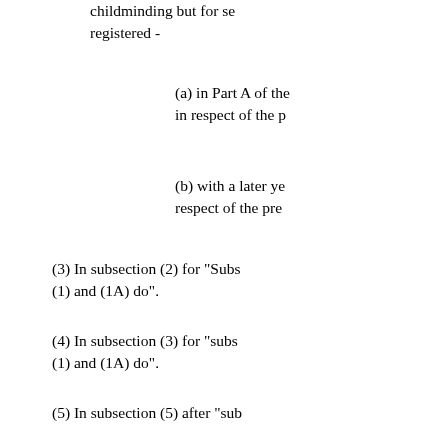childminding but for section registered -
(a) in Part A of the in respect of the p
(b) with a later ye respect of the pre
(3) In subsection (2) for "Subs (1) and (1A) do".
(4) In subsection (3) for "subs (1) and (1A) do".
(5) In subsection (5) after "sub
17 (1) Section 54 (applications childminders) is amended as f
(2) In subsection (1) for "to th later years childminder" substi
(a) to the Chief Inspector childminder in Part A of
(b) to a later years chil